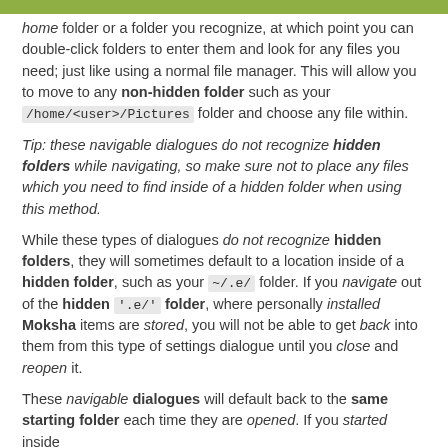home folder or a folder you recognize, at which point you can double-click folders to enter them and look for any files you need; just like using a normal file manager. This will allow you to move to any non-hidden folder such as your /home/<user>/Pictures folder and choose any file within.
Tip: these navigable dialogues do not recognize hidden folders while navigating, so make sure not to place any files which you need to find inside of a hidden folder when using this method.
While these types of dialogues do not recognize hidden folders, they will sometimes default to a location inside of a hidden folder, such as your ~/.e/ folder. If you navigate out of the hidden '.e/' folder, where personally installed Moksha items are stored, you will not be able to get back into them from this type of settings dialogue until you close and reopen it.
These navigable dialogues will default back to the same starting folder each time they are opened. If you started inside